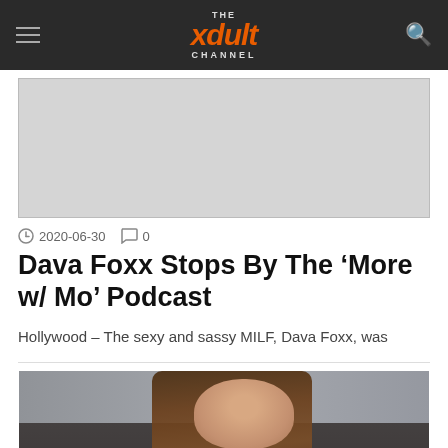THE xdult CHANNEL
[Figure (photo): Gray placeholder advertisement banner image]
2020-06-30   0
Dava Foxx Stops By The ‘More w/ Mo’ Podcast
Hollywood – The sexy and sassy MILF, Dava Foxx, was
[Figure (photo): Woman with long wavy brown hair, visible tattoos on arm, partially visible face, sitting in front of gray background]